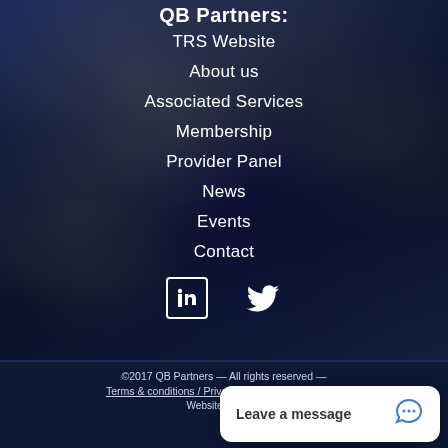QB Partners:
TRS Website
About us
Associated Services
Membership
Provider Panel
News
Events
Contact
[Figure (illustration): Social media icons: LinkedIn and Twitter (white icons on dark background)]
©2017 QB Partners — All rights reserved — Terms & conditions / Privacy policy / Cookie Policy. Website created,
Leave a message